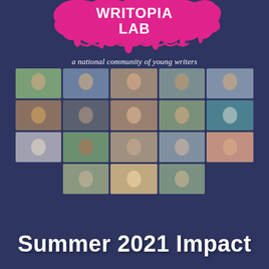[Figure (logo): Writopia Lab logo in white bold text on hot pink paint splash/blob background]
a national community of young writers
[Figure (photo): Grid of 16+ video call thumbnails showing young writers giving peace signs and smiling, displayed in a 5-column, 4-row mosaic on dark blue background]
Summer 2021 Impact